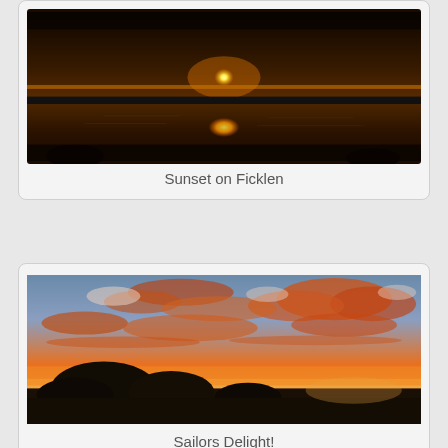[Figure (photo): Sunset over Ficklen lake, dark silhouette of bridge railing in foreground, orange sun low on the horizon reflecting on water]
Sunset on Ficklen
[Figure (photo): Dramatic sunset sky with orange and pink clouds, dark silhouettes of trees at the bottom, wide sky view]
Sailors Delight!